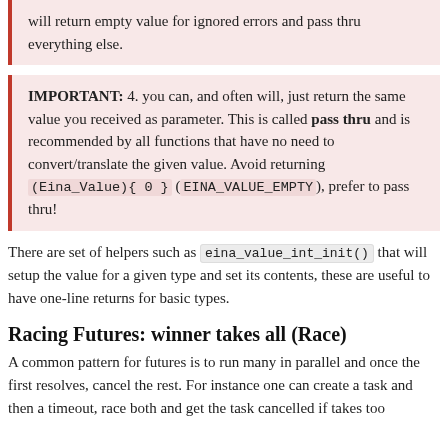will return empty value for ignored errors and pass thru everything else.
IMPORTANT: 4. you can, and often will, just return the same value you received as parameter. This is called pass thru and is recommended by all functions that have no need to convert/translate the given value. Avoid returning (Eina_Value){ 0 } (EINA_VALUE_EMPTY), prefer to pass thru!
There are set of helpers such as eina_value_int_init() that will setup the value for a given type and set its contents, these are useful to have one-line returns for basic types.
Racing Futures: winner takes all (Race)
A common pattern for futures is to run many in parallel and once the first resolves, cancel the rest. For instance one can create a task and then a timeout, race both and get the task cancelled if takes too